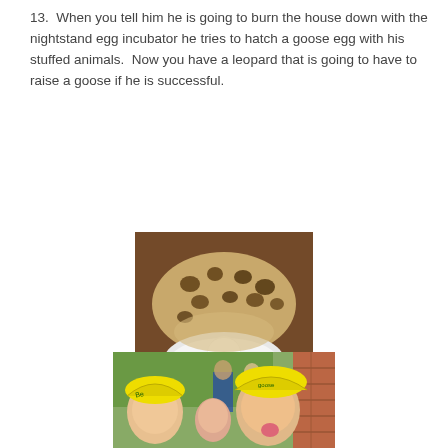13.  When you tell him he is going to burn the house down with the nightstand egg incubator he tries to hatch a goose egg with his stuffed animals.  Now you have a leopard that is going to have to raise a goose if he is successful.
[Figure (photo): A stuffed leopard animal lying on a wooden surface on top of white fabric/tissue, appearing to incubate a white egg underneath it.]
[Figure (photo): Children and adults outdoors, with two children in the foreground wearing yellow paper hats, one child making a funny face sticking out their tongue. A brick wall is visible on the right side.]